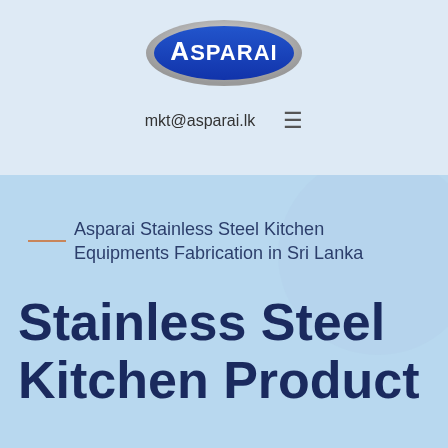[Figure (logo): Asparai logo: blue oval with white text reading ASPARAI]
mkt@asparai.lk  ≡
Asparai Stainless Steel Kitchen Equipments Fabrication in Sri Lanka
Stainless Steel Kitchen Product